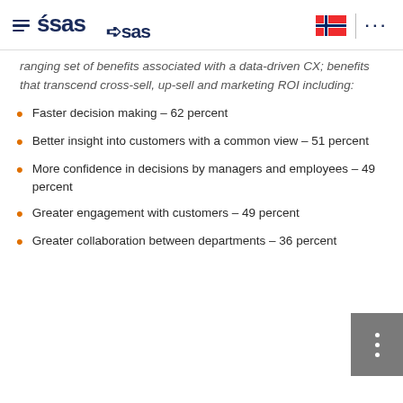SAS logo and navigation header
ranging set of benefits associated with a data-driven CX; benefits that transcend cross-sell, up-sell and marketing ROI including:
Faster decision making – 62 percent
Better insight into customers with a common view – 51 percent
More confidence in decisions by managers and employees – 49 percent
Greater engagement with customers – 49 percent
Greater collaboration between departments – 36 percent